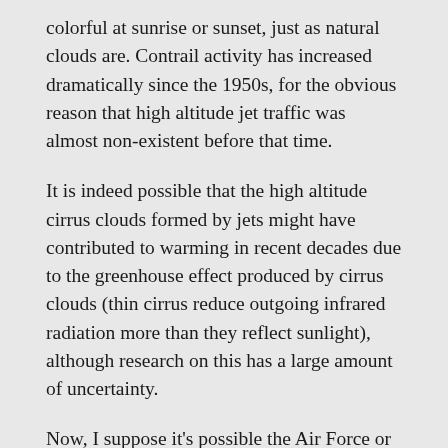colorful at sunrise or sunset, just as natural clouds are. Contrail activity has increased dramatically since the 1950s, for the obvious reason that high altitude jet traffic was almost non-existent before that time.
It is indeed possible that the high altitude cirrus clouds formed by jets might have contributed to warming in recent decades due to the greenhouse effect produced by cirrus clouds (thin cirrus reduce outgoing infrared radiation more than they reflect sunlight), although research on this has a large amount of uncertainty.
Now, I suppose it's possible the Air Force or some other entity has experimented with spraying of chemicals from jets for various purposes. For example, chemical defoliants were sprayed by aircraft from low altitudes during the Vietnam War. But there